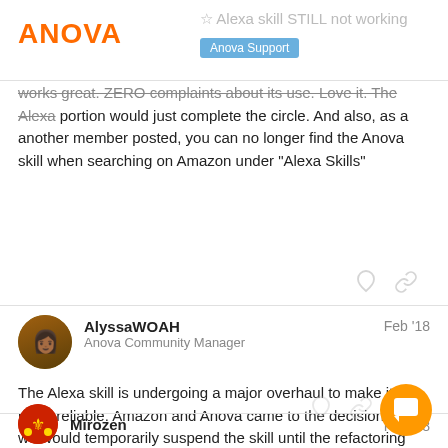Alexa skill STILL not working | Anova Support
works great. ZERO complaints about its use. Love it. The Alexa portion would just complete the circle. And also, as a another member posted, you can no longer find the Anova skill when searching on Amazon under “Alexa Skills”
AlyssaWOAH
Anova Community Manager
Feb '18
The Alexa skill is undergoing a major overhaul to make it more reliable. Amazon and Anova came to the decision that we would temporarily suspend the skill until the refactoring and testing was complete.
Mirozen
Feb '18